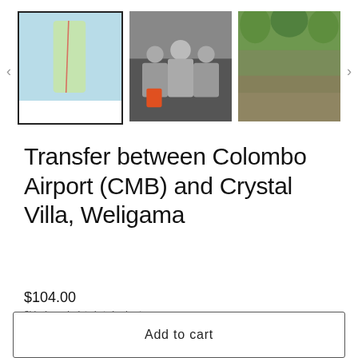[Figure (photo): Product image gallery with three thumbnails: a map of Sri Lanka's coastal route (selected with border), a group photo of people with luggage, and a crowd photo under trees. Left and right navigation arrows flank the thumbnails.]
Transfer between Colombo Airport (CMB) and Crystal Villa, Weligama
$104.00
Shipping calculated at checkout.
Title
by Car (Standard)
Add to cart